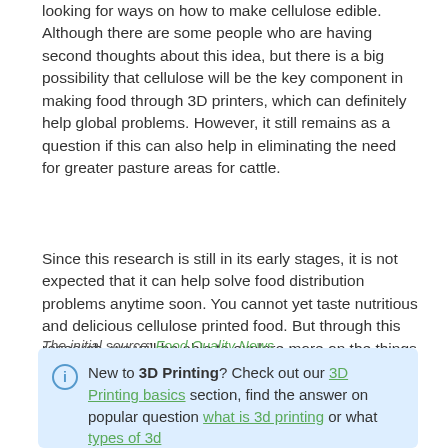looking for ways on how to make cellulose edible. Although there are some people who are having second thoughts about this idea, but there is a big possibility that cellulose will be the key component in making food through 3D printers, which can definitely help global problems. However, it still remains as a question if this can also help in eliminating the need for greater pasture areas for cattle.
Since this research is still in its early stages, it is not expected that it can help solve food distribution problems anytime soon. You cannot yet taste nutritious and delicious cellulose printed food. But through this research, we will be able to explore more on the things that 3D printers can do in order to help address the needs all around the globe.
The initial source: Food Quality News
New to 3D Printing? Check out our 3D Printing basics section, find the answer on popular question what is 3d printing or what types of 3d